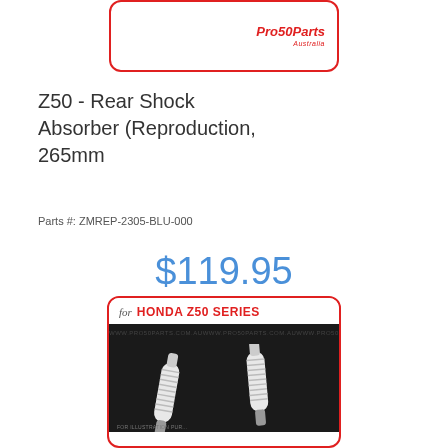[Figure (photo): Top product card with red border showing Pro50Parts Australia logo in red italic font]
Z50 - Rear Shock Absorber (Reproduction, 265mm
Parts #: ZMREP-2305-BLU-000
$119.95
Add To Cart
[Figure (photo): Bottom product card with red border showing 'for HONDA Z50 SERIES' header and dark background with white shock absorbers photo]